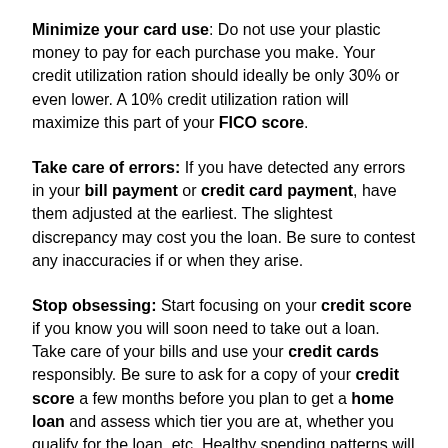Minimize your card use: Do not use your plastic money to pay for each purchase you make. Your credit utilization ration should ideally be only 30% or even lower. A 10% credit utilization ration will maximize this part of your FICO score.
Take care of errors: If you have detected any errors in your bill payment or credit card payment, have them adjusted at the earliest. The slightest discrepancy may cost you the loan. Be sure to contest any inaccuracies if or when they arise.
Stop obsessing: Start focusing on your credit score if you know you will soon need to take out a loan. Take care of your bills and use your credit cards responsibly. Be sure to ask for a copy of your credit score a few months before you plan to get a home loan and assess which tier you are at, whether you qualify for the loan, etc. Healthy spending patterns will reflect well on your report.